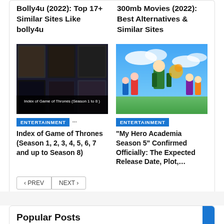Bolly4u (2022): Top 17+ Similar Sites Like bolly4u
300mb Movies (2022): Best Alternatives & Similar Sites
[Figure (photo): Dark collage of movie posters with overlay bar reading 'Index of Game of Thrones (Season 1 to 8)']
ENTERTAINMENT
Index of Game of Thrones (Season 1, 2, 3, 4, 5, 6, 7 and up to Season 8)
[Figure (photo): Anime illustration of My Hero Academia characters running in action scene with blue sky background]
ENTERTAINMENT
“My Hero Academia Season 5” Confirmed Officially: The Expected Release Date, Plot,…
‹ PREV   NEXT ›
Popular Posts